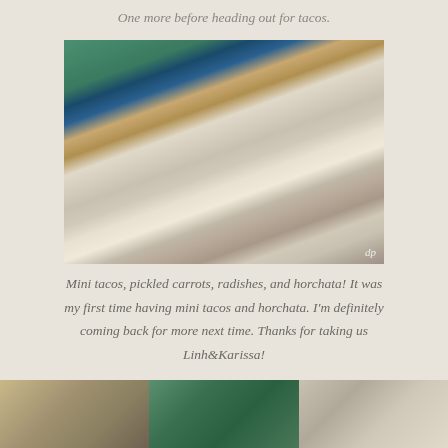One more before heading out for tacos.
[Figure (photo): Overhead view of people sitting at a white table in a restaurant eating tacos, pickled carrots, radishes, and drinking horchata. Watermark 'dp' in bottom right corner.]
Mini tacos, pickled carrots, radishes, and horchata!  It was my first time having mini tacos and horchata.  I'm definitely coming back for more next time. Thanks for taking us Linh&Karissa!
[Figure (photo): Three cropped photos at the bottom of the page showing food and people at the taco restaurant.]